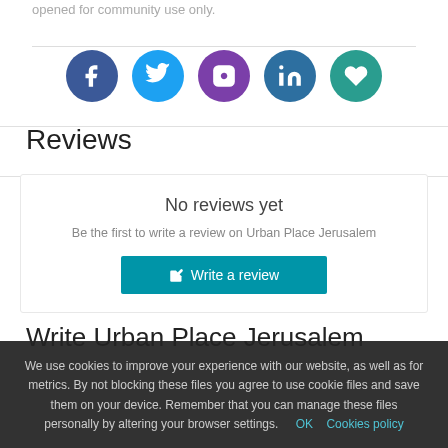opened for community use only.
[Figure (infographic): Row of 5 social media icon buttons: Facebook (dark blue circle), Twitter (light blue circle), Instagram (purple circle), LinkedIn (steel blue circle), and a heart/social (teal circle)]
Reviews
No reviews yet
Be the first to write a review on Urban Place Jerusalem
Write a review
Write Urban Place Jerusalem
We use cookies to improve your experience with our website, as well as for metrics. By not blocking these files you agree to use cookie files and save them on your device. Remember that you can manage these files personally by altering your browser settings.